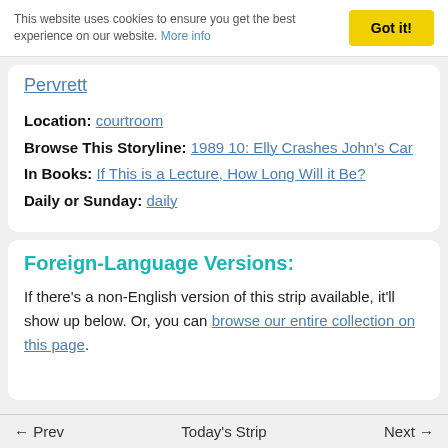This website uses cookies to ensure you get the best experience on our website. More info
Pervrett
Location: courtroom
Browse This Storyline: 1989 10: Elly Crashes John's Car
In Books: If This is a Lecture, How Long Will it Be?
Daily or Sunday: daily
Foreign-Language Versions:
If there's a non-English version of this strip available, it'll show up below. Or, you can browse our entire collection on this page.
← Prev   Today's Strip   Next →